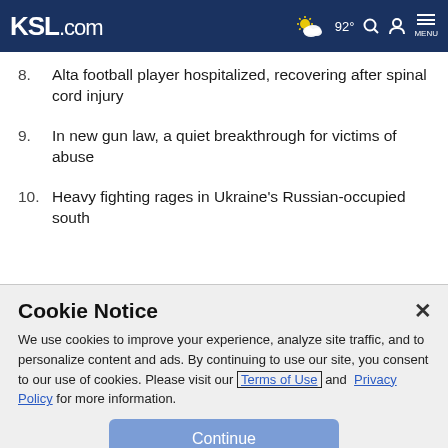KSL.com  92° MENU
8. Alta football player hospitalized, recovering after spinal cord injury
9. In new gun law, a quiet breakthrough for victims of abuse
10. Heavy fighting rages in Ukraine's Russian-occupied south
Cookie Notice
We use cookies to improve your experience, analyze site traffic, and to personalize content and ads. By continuing to use our site, you consent to our use of cookies. Please visit our Terms of Use and Privacy Policy for more information.
Continue